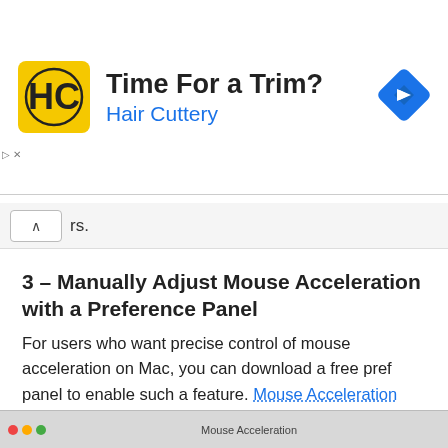[Figure (screenshot): Advertisement banner for Hair Cuttery showing logo, 'Time For a Trim?' headline, 'Hair Cuttery' subtitle in blue, and a navigation/maps icon on the right]
rs.
3 – Manually Adjust Mouse Acceleration with a Preference Panel
For users who want precise control of mouse acceleration on Mac, you can download a free pref panel to enable such a feature. Mouse Acceleration preference pane is here – you can manually adjust or disable the mouse acceleration via this preference pane in Mac OS X, this is handy if you want to manually adjust the curve rather than just disable it.
[Figure (screenshot): Partial screenshot of a Mac OS X 'Mouse Acceleration' preference pane window at the bottom of the page]